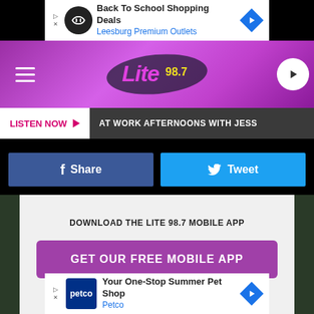[Figure (screenshot): Top advertisement banner: Back To School Shopping Deals - Leesburg Premium Outlets with navigation icon]
[Figure (logo): Lite 98.7 radio station header with pink/purple gradient background, hamburger menu, logo, and play button]
LISTEN NOW ▶  AT WORK AFTERNOONS WITH JESS
[Figure (infographic): Facebook Share button (blue) and Twitter Tweet button (cyan)]
DOWNLOAD THE LITE 98.7 MOBILE APP
GET OUR FREE MOBILE APP
Also listen on:  amazon alexa
[Figure (screenshot): Bottom advertisement banner: Your One-Stop Summer Pet Shop - Petco with navigation icon]